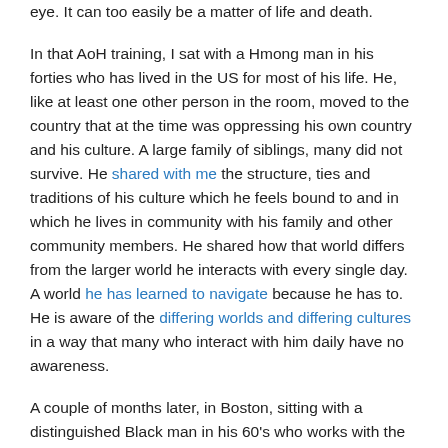eye. It can too easily be a matter of life and death.
In that AoH training, I sat with a Hmong man in his forties who has lived in the US for most of his life. He, like at least one other person in the room, moved to the country that at the time was oppressing his own country and his culture. A large family of siblings, many did not survive. He shared with me the structure, ties and traditions of his culture which he feels bound to and in which he lives in community with his family and other community members. He shared how that world differs from the larger world he interacts with every single day. A world he has learned to navigate because he has to. He is aware of the differing worlds and differing cultures in a way that many who interact with him daily have no awareness.
A couple of months later, in Boston, sitting with a distinguished Black man in his 60's who works with the Massachusetts's Teachers' Association, I am heartbroken as we speak about life in general and our children. He has two sons in their 20's. I have two sons in their 20's (and one in his early teens) and we have very different